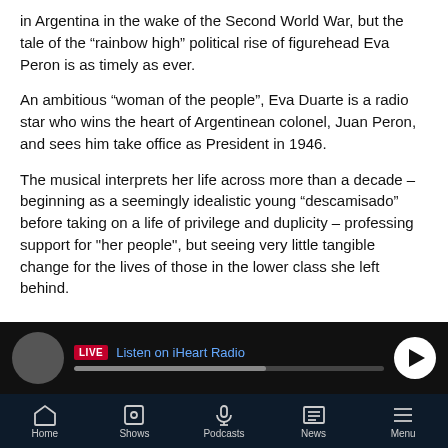in Argentina in the wake of the Second World War, but the tale of the “rainbow high” political rise of figurehead Eva Peron is as timely as ever.
An ambitious “woman of the people”, Eva Duarte is a radio star who wins the heart of Argentinean colonel, Juan Peron, and sees him take office as President in 1946.
The musical interprets her life across more than a decade – beginning as a seemingly idealistic young “descamisado” before taking on a life of privilege and duplicity – professing support for "her people", but seeing very little tangible change for the lives of those in the lower class she left behind.
[Figure (screenshot): Media player bar showing LIVE badge, Listen on iHeart Radio text, progress bar, and play button on dark background]
[Figure (screenshot): Mobile app navigation bar with Home, Shows, Podcasts, News, Menu icons on dark navy background]